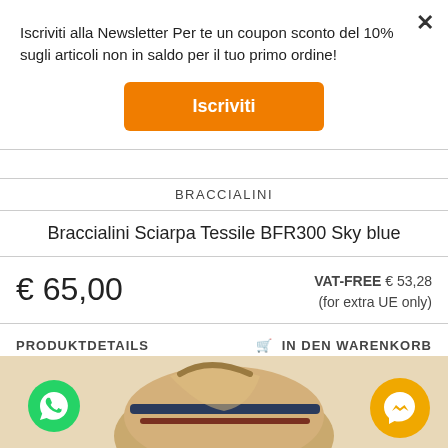Iscriviti alla Newsletter Per te un coupon sconto del 10% sugli articoli non in saldo per il tuo primo ordine!
Iscriviti
×
BRACCIALINI
Braccialini Sciarpa Tessile BFR300 Sky blue
€ 65,00
VAT-FREE € 53,28
(for extra UE only)
PRODUKTDETAILS
🛒 IN DEN WARENKORB
[Figure (photo): Partial view of a tan/beige bag with dark navy blue stripes, visible from below the fold]
[Figure (logo): Green WhatsApp icon button]
[Figure (logo): Yellow/orange Messenger icon button]